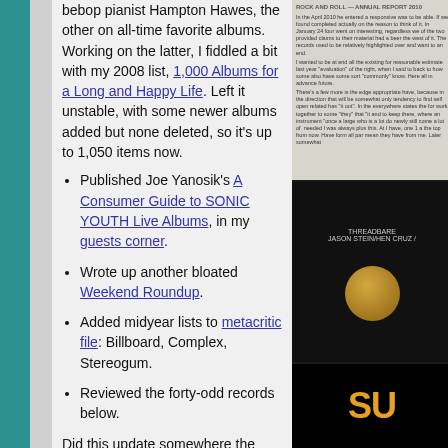bebop pianist Hampton Hawes, the other on all-time favorite albums. Working on the latter, I fiddled a bit with my 2008 list, 1,000 Albums for a Long and Happy Life. Left it unstable, with some newer albums added but none deleted, so it's up to 1,050 items now.
Published Joe Yanosik's A Consumer Guide to SONIC YOUTH Live Albums, in my guests corner.
Wrote up another bloated Weekend Roundup.
Added midyear lists to metacritic file: Billboard, Complex, Stereogum.
Reviewed the forty-odd records below.
Did this update somewhere the
[Figure (photo): Scanned document page with dense text, appears to be a music review or essay]
[Figure (photo): Dark album cover with text reading THREADBARE, JASON STEIN/HEN CRUZ, with a gold coin or medallion visible]
[Figure (photo): Dark/black background with orange/yellow text appearing to begin with SU]